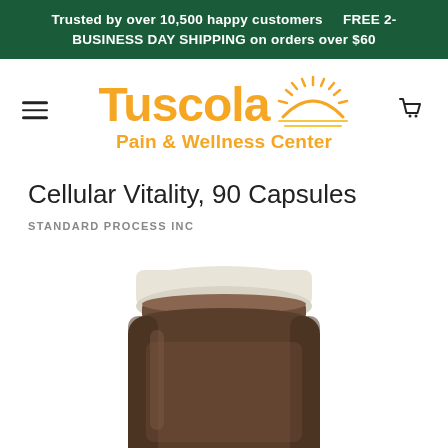Trusted by over 10,500 happy customers    FREE 2-BUSINESS DAY SHIPPING on orders over $60
[Figure (logo): Tuscola Pain & Wellness Center logo with sun graphic in orange and yellow]
Cellular Vitality, 90 Capsules
STANDARD PROCESS INC
[Figure (photo): Product photo of a dark amber supplement bottle with white cap, partially cropped at bottom]